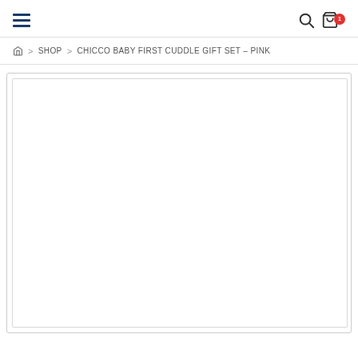Navigation header with hamburger menu, search icon, cart icon with badge
Home > SHOP > CHICCO BABY FIRST CUDDLE GIFT SET – PINK
[Figure (photo): White empty product image area inside a bordered card]